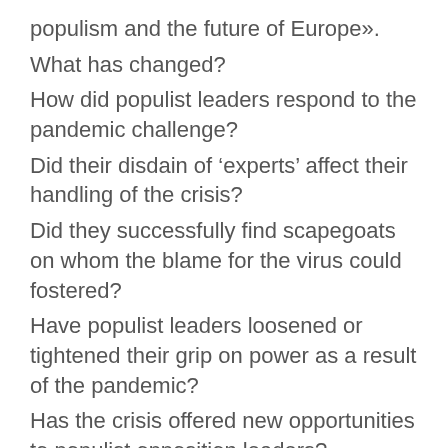populism and the future of Europe».
What has changed?
How did populist leaders respond to the pandemic challenge?
Did their disdain of 'experts' affect their handling of the crisis?
Did they successfully find scapegoats on whom the blame for the virus could fostered?
Have populist leaders loosened or tightened their grip on power as a result of the pandemic?
Has the crisis offered new opportunities to populist opposition leaders?
How have Christians responded to the populist message which often claims to defend 'Christian values and culture'?
Engage online with a panel of specialists discussing these